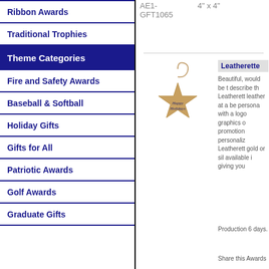Ribbon Awards
Traditional Trophies
Theme Categories
Fire and Safety Awards
Baseball & Softball
Holiday Gifts
Gifts for All
Patriotic Awards
Golf Awards
Graduate Gifts
AE1-GFT1065
4" x 4"
[Figure (photo): A star-shaped leatherette ornament with a string loop, tan/brown color, with 'Happy Holidays' text printed on it]
Leatherette
Beautiful, would be t describe th Leatherett leather at a be persona with a logo graphics o promotion personaliz Leatherett gold or sil available i giving you
Production 6 days.
Share this Awards